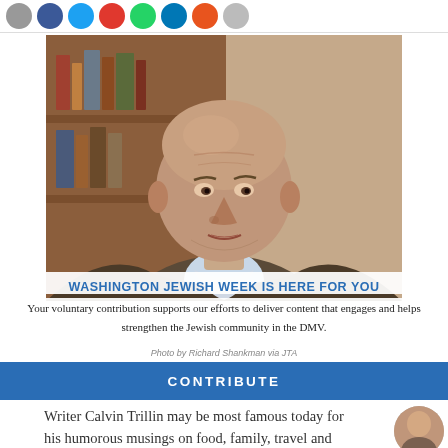[Figure (photo): Social media share buttons row: gray, Facebook blue, Twitter cyan, red (Pinterest), green (WhatsApp), LinkedIn blue, orange, gray]
[Figure (photo): Portrait photo of an elderly bald man, Calvin Trillin, seated indoors, looking slightly to the side. Wood shelving visible in background.]
WASHINGTON JEWISH WEEK IS HERE FOR YOU
Your voluntary contribution supports our efforts to deliver content that engages and helps strengthen the Jewish community in the DMV.
Photo by Richard Shankman via JTA
CONTRIBUTE
Writer Calvin Trillin may be most famous today for his humorous musings on food, family, travel and love.